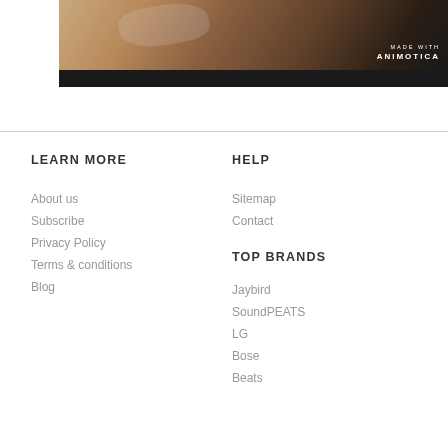[Figure (photo): Partial photo of hands with plastic wrap on a wooden surface, with 'MADE WITH ANIMOTICA' text overlay in the lower right corner. Bottom portion is black/dark.]
LEARN MORE
About us
Subscribe
Privacy Policy
Terms & conditions
Blog
HELP
Sitemap
Contact
TOP BRANDS
Jaybird
SoundPEATS
LG
Bose
Beats